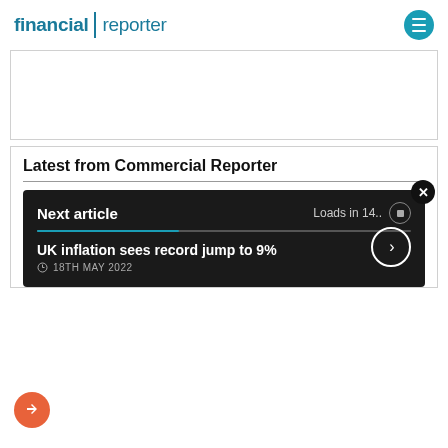financial reporter
[Figure (other): Empty advertisement placeholder box]
Latest from Commercial Reporter
Next article — Loads in 14..
UK inflation sees record jump to 9%
18TH MAY 2022